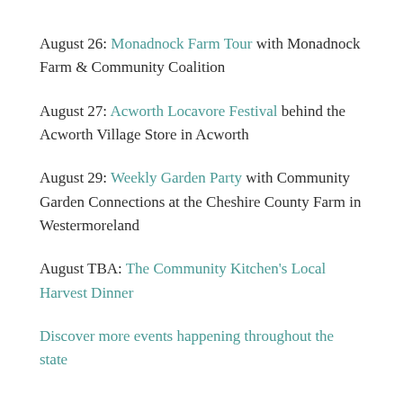August 26: Monadnock Farm Tour with Monadnock Farm & Community Coalition
August 27: Acworth Locavore Festival behind the Acworth Village Store in Acworth
August 29: Weekly Garden Party with Community Garden Connections at the Cheshire County Farm in Westermoreland
August TBA: The Community Kitchen's Local Harvest Dinner
Discover more events happening throughout the state